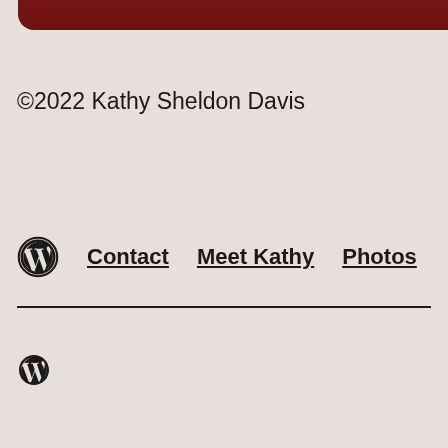[Figure (illustration): Partial view of a dark red/maroon rounded rectangular shape at the top of the page, appearing to be the bottom portion of a book or similar object cover]
©2022 Kathy Sheldon Davis
[Figure (logo): WordPress logo icon (large) followed by navigation links: Contact, Meet Kathy, Photos]
WordPress icon (small)